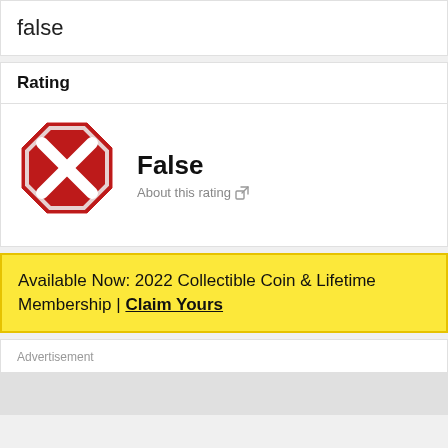false
Rating
[Figure (illustration): Red stop-sign octagon with white X cross — False rating icon]
False
About this rating
Available Now: 2022 Collectible Coin & Lifetime Membership | Claim Yours
Advertisement